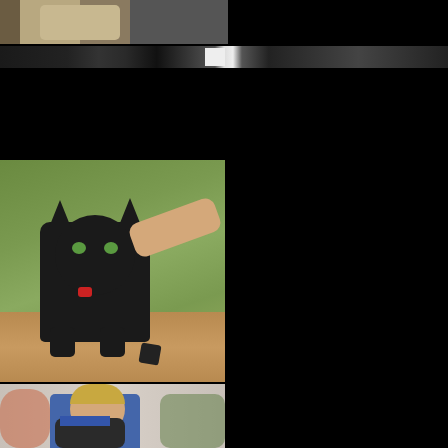[Figure (photo): Partial photo at top showing a person in beige/tan clothing, cropped, on a light background]
[Figure (photo): Wide panoramic strip photo showing a dark scene with people and a white object visible in the center]
[Figure (photo): A dark/black cat sitting on a wooden surface being pet by a human hand, wearing a small red tag collar, looking at camera]
[Figure (photo): A young man with short blonde hair wearing a blue Puma t-shirt, looking down, with people visible in background at what appears to be an indoor event]